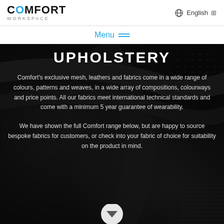COMFORT WORKSPACE | English
Menu
UPHOLSTERY
Comfort's exclusive mesh, leathers and fabrics come in a wide range of colours, patterns and weaves, in a wide array of compositions, colourways and price points. All our fabrics meet international technical standards and come with a minimum 5 year guarantee of wearability.
We have shown the full Comfort range below, but are happy to source bespoke fabrics for customers, or check into your fabric of choice for suitability on the product in mind.